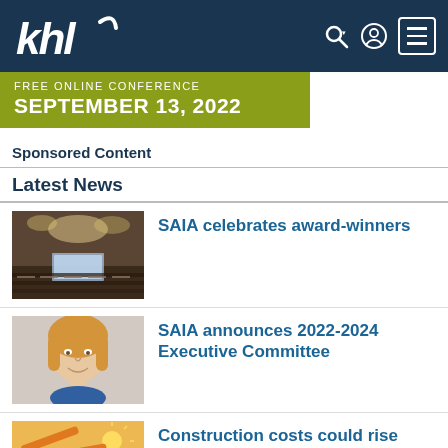khl
[Figure (screenshot): KHL website navigation header with logo, search icon, user icon, and hamburger menu button on dark navy background]
[Figure (infographic): Olive green banner: FREE ONLINE CONFERENCE SEPTEMBER 13, 2022]
Sponsored Content
Latest News
[Figure (photo): Photo of a large banquet/conference hall filled with attendees seated at tables with a stage and screen at the front]
SAIA celebrates award-winners
[Figure (photo): Portrait photo of a woman with blonde hair wearing a blue top]
SAIA announces 2022-2024 Executive Committee
[Figure (photo): Photo of construction excavator machinery with sunlight in background]
Construction costs could rise another 14% this year